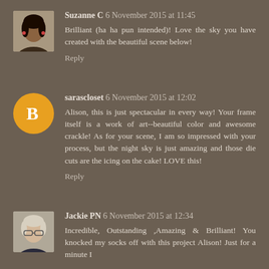[Figure (photo): Avatar photo of Suzanne C, a woman with dark hair]
Suzanne C 6 November 2015 at 11:45
Brilliant (ha ha pun intended)! Love the sky you have created with the beautiful scene below!
Reply
[Figure (logo): Orange circle with white Blogger 'B' icon for sarascloset]
sarascloset 6 November 2015 at 12:02
Alison, this is just spectacular in every way! Your frame itself is a work of art--beautiful color and awesome crackle! As for your scene, I am so impressed with your process, but the night sky is just amazing and those die cuts are the icing on the cake! LOVE this!
Reply
[Figure (photo): Avatar photo of Jackie PN, a woman with glasses and light hair]
Jackie PN 6 November 2015 at 12:34
Incredible, Outstanding ,Amazing & Brilliant! You knocked my socks off with this project Alison! Just for a minute I